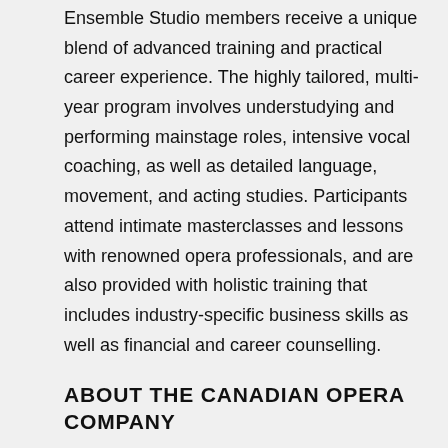Ensemble Studio members receive a unique blend of advanced training and practical career experience. The highly tailored, multi-year program involves understudying and performing mainstage roles, intensive vocal coaching, as well as detailed language, movement, and acting studies. Participants attend intimate masterclasses and lessons with renowned opera professionals, and are also provided with holistic training that includes industry-specific business skills as well as financial and career counselling.
ABOUT THE CANADIAN OPERA COMPANY
Based in Toronto, the Canadian Opera Company is the largest producer of opera in Canada and one